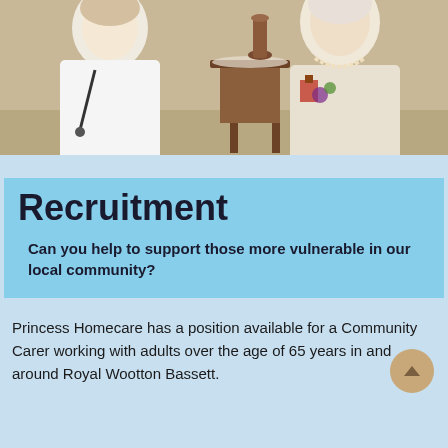[Figure (photo): Photo of a doctor or nurse in a white coat with stethoscope sitting with an elderly woman wearing a pearl necklace and colorful dress with medals/brooches, in a home setting with a wooden side table in the background.]
Recruitment
Can you help to support those more vulnerable in our local community?
Princess Homecare has a position available for a Community Carer working with adults over the age of 65 years in and around Royal Wootton Bassett.